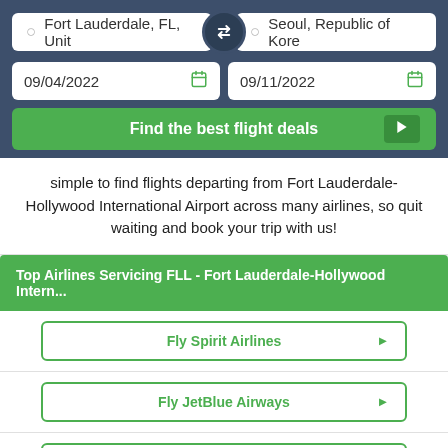Fort Lauderdale, FL, Unit
Seoul, Republic of Kore
09/04/2022
09/11/2022
Find the best flight deals
simple to find flights departing from Fort Lauderdale-Hollywood International Airport across many airlines, so quit waiting and book your trip with us!
Top Airlines Servicing FLL - Fort Lauderdale-Hollywood Intern...
Fly Spirit Airlines
Fly JetBlue Airways
Fly United Airlines